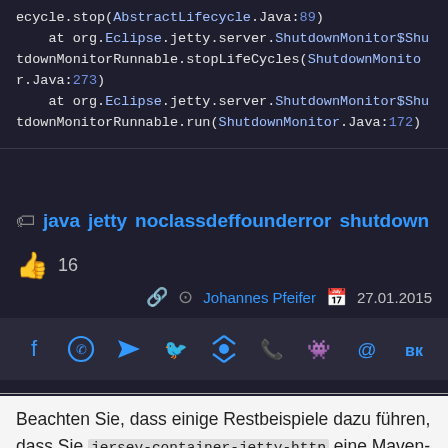ecycle.stop(AbstractLifecycle.Java:89)
    at org.Eclipse.jetty.server.ShutdownMonitor$ShutdownMonitorRunnable.stopLifeCycles(ShutdownMonitor.Java:273)
    at org.Eclipse.jetty.server.ShutdownMonitor$ShutdownMonitorRunnable.run(ShutdownMonitor.Java:172)
java  jetty  noclassdeffounderror  shutdown
16
Johannes Pfeifer  27.01.2015
[Figure (infographic): Social share bar with icons: Facebook, WhatsApp, Telegram, Twitter, Share, Phone/Viber, Reddit, Email, VK]
Beachten Sie, dass einige Restbeispiele dazu führen, dass Sie jersey-container-jetty-http eine Maven-Abhängigkeit hinzufügen, die eine wahrscheinlich ältere Version von Jetty http enthält. Entfernen Sie diese